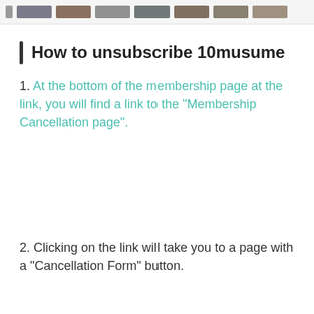[thumbnail images strip]
How to unsubscribe 10musume
1. At the bottom of the membership page at the link, you will find a link to the "Membership Cancellation page".
2. Clicking on the link will take you to a page with a "Cancellation Form" button.